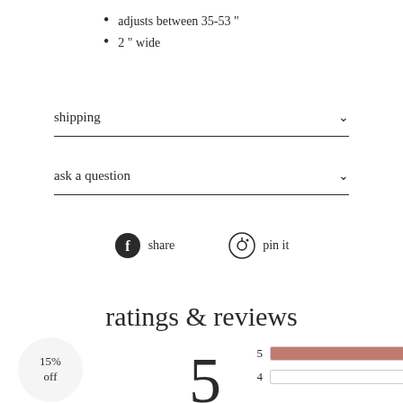adjusts between 35-53 "
2 " wide
shipping
ask a question
share
pin it
ratings & reviews
15% off
5
[Figure (bar-chart): Rating distribution]